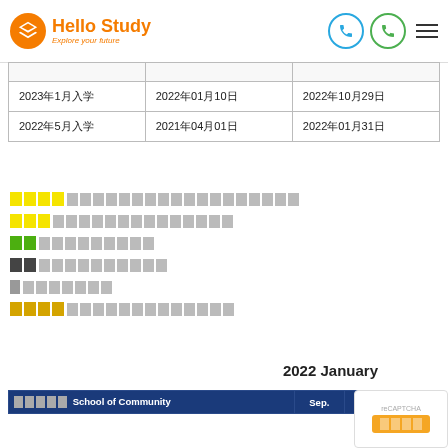Hello Study — Explore your future
|  |  |  |
| --- | --- | --- |
| 2023年1月入学 | 2022年01月10日 | 2022年10月29日 |
| 2022年5月入学 | 2021年04月01日 | 2022年01月31日 |
黄色ハイライト：出願書類受付期間内に書類一式を提出済み
黄色：出願書類受付期間内に提出済み
緑：合格
黒：不合格または保留
灰：辞退
金：出願書類受付期間外に書類一式を提出済み
2022 January
| 学校名 School of Community | Sep. | Jan. | May |
| --- | --- | --- | --- |